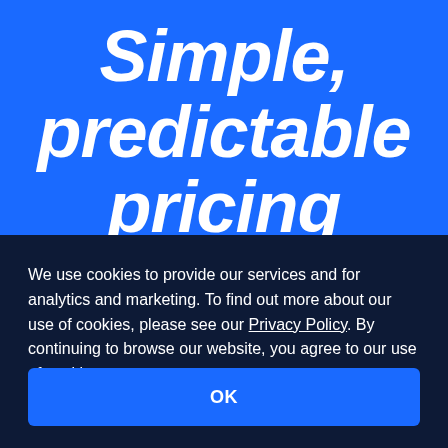Simple, predictable pricing
We use cookies to provide our services and for analytics and marketing. To find out more about our use of cookies, please see our Privacy Policy. By continuing to browse our website, you agree to our use of cookies.
OK